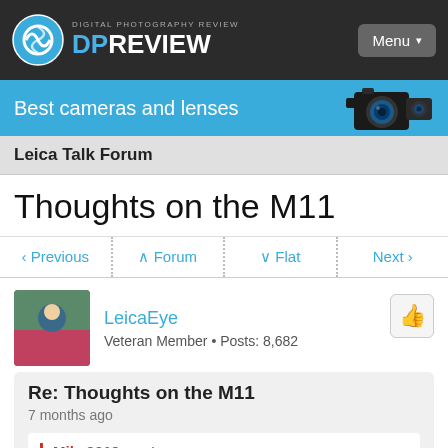DIGITAL PHOTOGRAPHY REVIEW DPREVIEW
Best cameras and lenses
Leica Talk Forum
Thoughts on the M11
Previous  Forum  Flat  Next
LeicaEye
Veteran Member • Posts: 8,682
Re: Thoughts on the M11
7 months ago
Mike2019 wrote:
Rodrigue Zahr wrote: